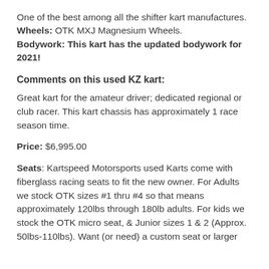One of the best among all the shifter kart manufactures.
Wheels: OTK MXJ Magnesium Wheels.
Bodywork: This kart has the updated bodywork for 2021!
Comments on this used KZ kart:
Great kart for the amateur driver; dedicated regional or club racer. This kart chassis has approximately 1 race season time.
Price: $6,995.00
Seats: Kartspeed Motorsports used Karts come with fiberglass racing seats to fit the new owner. For Adults we stock OTK sizes #1 thru #4 so that means approximately 120lbs through 180lb adults. For kids we stock the OTK micro seat, & Junior sizes 1 & 2 (Approx. 50lbs-110lbs). Want (or need) a custom seat or larger